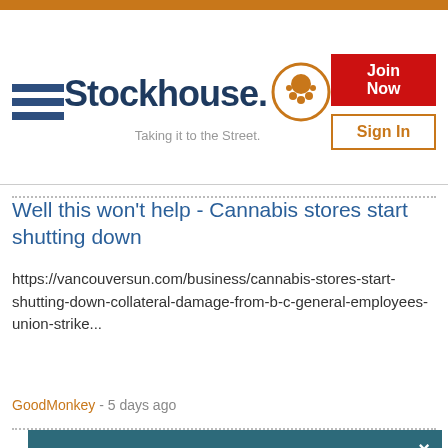Stockhouse. Taking it to the Street.
Well this won't help - Cannabis stores start shutting down
https://vancouversun.com/business/cannabis-stores-start-shutting-down-collateral-damage-from-b-c-general-employees-union-strike...
GoodMonkey - 5 days ago
Stockhouse.com uses cookies on this site. By continuing to use our service, you agree to our use of cookies. Cookies are used to offer you a better browsing experience and to analyze our traffic. We also use them to share usage information with our partners. See full details.
I Agree